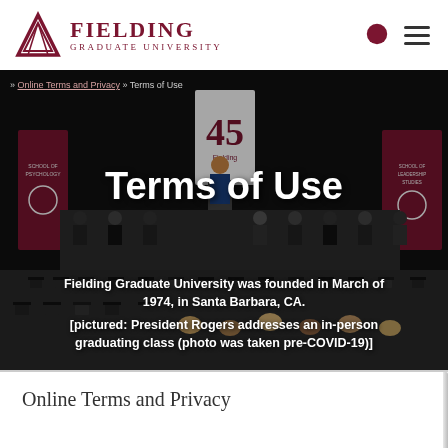Fielding Graduate University
» Online Terms and Privacy » Terms of Use
Terms of Use
[Figure (photo): Graduation ceremony at Fielding Graduate University. A speaker stands at a podium on a stage, surrounded by faculty in academic regalia. Graduates in caps and gowns fill the audience. Banners read 'School of Psychology' and 'School of Leadership Studies'. A '45' anniversary banner is visible at the podium.]
Fielding Graduate University was founded in March of 1974, in Santa Barbara, CA. [pictured: President Rogers addresses an in-person graduating class (photo was taken pre-COVID-19)]
Online Terms and Privacy